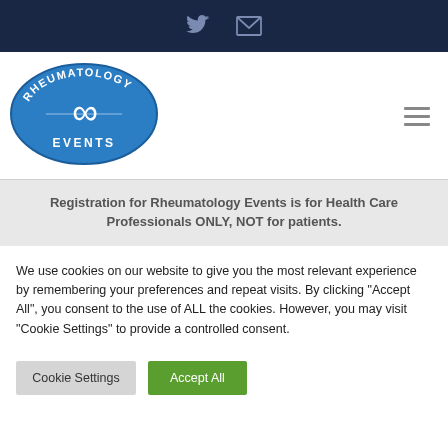Twitter and Email icons in dark navy bar
[Figure (logo): Rheumatology Events oval blue logo with infinity symbol]
Registration for Rheumatology Events is for Health Care Professionals ONLY, NOT for patients.
We use cookies on our website to give you the most relevant experience by remembering your preferences and repeat visits. By clicking "Accept All", you consent to the use of ALL the cookies. However, you may visit "Cookie Settings" to provide a controlled consent.
Cookie Settings | Accept All